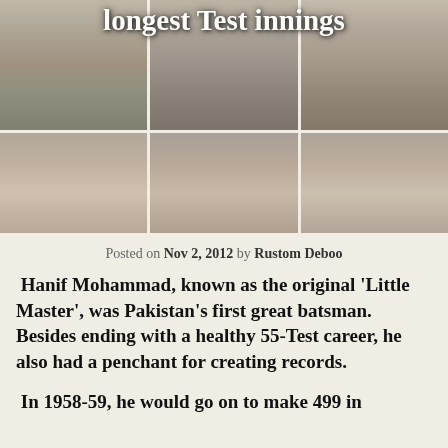longest Test innings
[Figure (photo): Six-panel black and white photo grid showing a cricket batsman (Hanif Mohammad) in top two rows: top row shows body/legs with bat, bottom row shows face/head closeups. Three columns separated by white borders.]
Posted on Nov 2, 2012 by Rustom Deboo
Hanif Mohammad, known as the original 'Little Master', was Pakistan's first great batsman. Besides ending with a healthy 55-Test career, he also had a penchant for creating records.
In 1958-59, he would go on to make 499 in